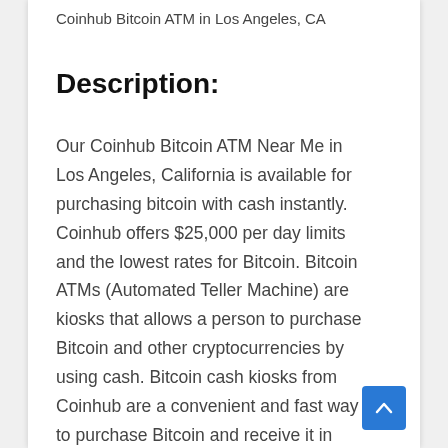Coinhub Bitcoin ATM in Los Angeles, CA
Description:
Our Coinhub Bitcoin ATM Near Me in Los Angeles, California is available for purchasing bitcoin with cash instantly. Coinhub offers $25,000 per day limits and the lowest rates for Bitcoin. Bitcoin ATMs (Automated Teller Machine) are kiosks that allows a person to purchase Bitcoin and other cryptocurrencies by using cash. Bitcoin cash kiosks from Coinhub are a convenient and fast way to purchase Bitcoin and receive it in minutes directly into your wallet. Coinhub Bitcoin machines can be used quickly and easily. If you're using a Coinhub Bitcoin Machine near me, you are able to purchase Bitcoin instantly and receive it within minutes. You can purchase Bitcoin in less than 2 minutes, and you don't need an account. To